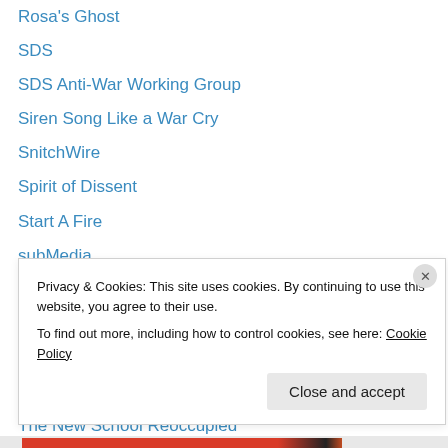Rosa's Ghost
SDS
SDS Anti-War Working Group
Siren Song Like a War Cry
SnitchWire
Spirit of Dissent
Start A Fire
subMedia
Support Carrie!
Survival Solidarity
The Coming Insurrection
The End of Capitalism
The New School Reoccupied
This Is Our Job
Privacy & Cookies: This site uses cookies. By continuing to use this website, you agree to their use.
To find out more, including how to control cookies, see here: Cookie Policy
Close and accept